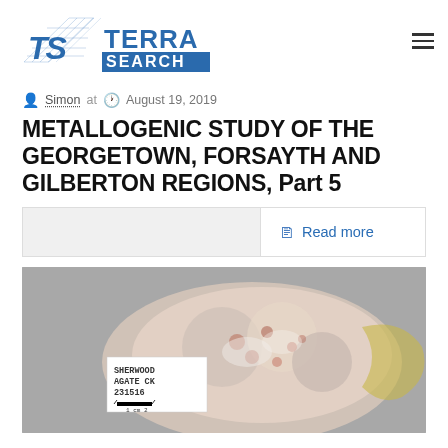[Figure (logo): Terra Search logo with stylized TS icon in blue and 'TERRA SEARCH' text in blue]
Simon at  August 19, 2019
METALLOGENIC STUDY OF THE GEORGETOWN, FORSAYTH AND GILBERTON REGIONS, Part 5
Read more
[Figure (photo): Close-up photograph of a mineral specimen (agate) with a label reading SHERWOOD AGATE CK 231516 and a centimeter scale bar]